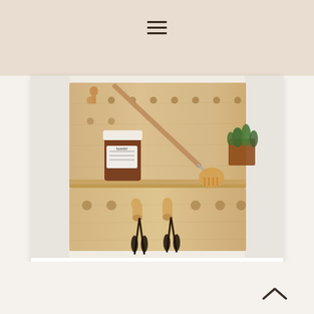≡
[Figure (photo): A DIY wooden pegboard shelf mounted on a white wall. The board has multiple round peg holes and wooden dowel pegs inserted in various positions. On the upper shelf sits a dark amber glass jar with a white label, a wooden-handled brush/whisk, and a small green succulent plant in a terracotta pot. Two pairs of scissors or shears hang from pegs on the lower section of the board.]
DIY pegboard shelf
^